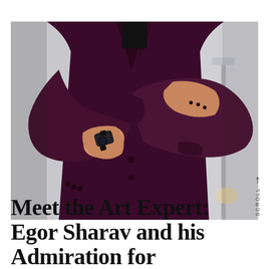[Figure (photo): A person wearing a dark burgundy/purple blazer with arms crossed, wearing a black watch. The photo is cropped at chest/torso level showing no face. Background is light grey with a metallic table or stand visible on the right.]
Meet the Art Expert: Egor Sharav and his Admiration for